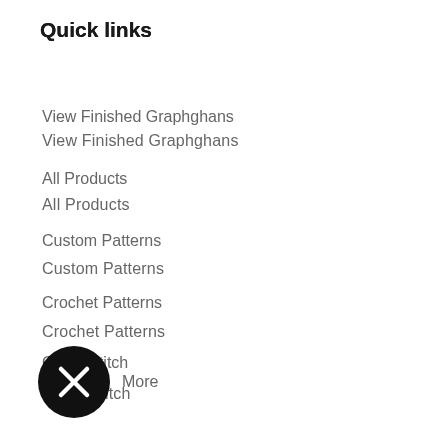Quick links
View Finished Graphghans
All Products
Custom Patterns
Crochet Patterns
Cross Stitch
CCPA Opt Out
Do not sell my personal information
[Figure (illustration): Black circular close/dismiss button with white X icon]
More